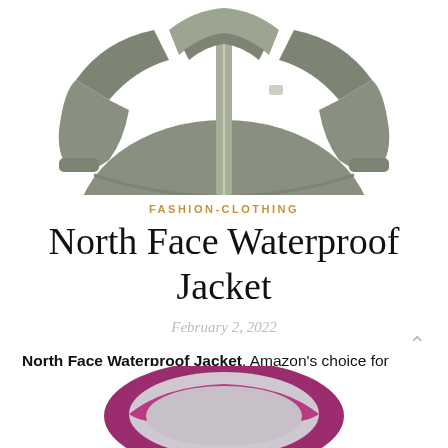[Figure (photo): Top portion of a grey/olive North Face waterproof jacket on white background, showing zipper and collar area.]
FASHION-CLOTHING
North Face Waterproof Jacket
February 2, 2022
North Face Waterproof Jacket. Amazon's choice for north face waterproof jacket +34. Embroidered logo on left chest and.
[Figure (photo): Bottom portion of a purple/magenta North Face waterproof jacket hood on white background, showing inner lining.]